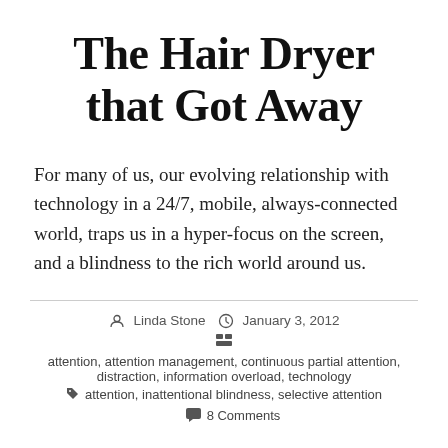The Hair Dryer that Got Away
For many of us, our evolving relationship with technology in a 24/7, mobile, always-connected world, traps us in a hyper-focus on the screen, and a blindness to the rich world around us.
Linda Stone  January 3, 2012  attention, attention management, continuous partial attention, distraction, information overload, technology  attention, inattentional blindness, selective attention  8 Comments